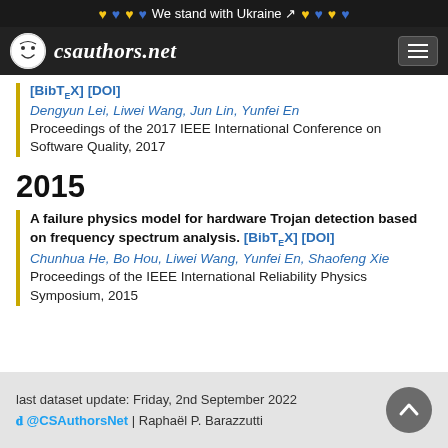We stand with Ukraine
[Figure (logo): csauthors.net website logo with smiley face icon]
[BibTeX] [DOI] Dengyun Lei, Liwei Wang, Jun Lin, Yunfei En — Proceedings of the 2017 IEEE International Conference on Software Quality, 2017
2015
A failure physics model for hardware Trojan detection based on frequency spectrum analysis. [BibTeX] [DOI] Chunhua He, Bo Hou, Liwei Wang, Yunfei En, Shaofeng Xie — Proceedings of the IEEE International Reliability Physics Symposium, 2015
last dataset update: Friday, 2nd September 2022 @CSAuthorsNet | Raphaël P. Barazzutti